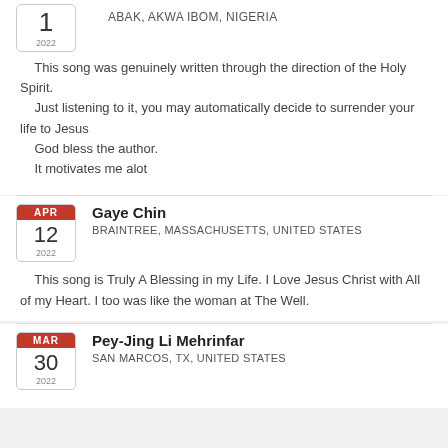[Figure (other): Calendar icon showing day 1, 2022]
Abak, Akwa Ibom, Nigeria
This song was genuinely written through the direction of the Holy Spirit.
    Just listening to it, you may automatically decide to surrender your life to Jesus
    God bless the author.
    It motivates me alot
[Figure (other): Calendar icon showing APR 12, 2022]
Gaye Chin
Braintree, Massachusetts, United States
This song is Truly A Blessing in my Life. I Love Jesus Christ with All of my Heart. I too was like the woman at The Well.
[Figure (other): Calendar icon showing MAR 30, 2022]
Pey-Jing Li Mehrinfar
San Marcos, TX, United States